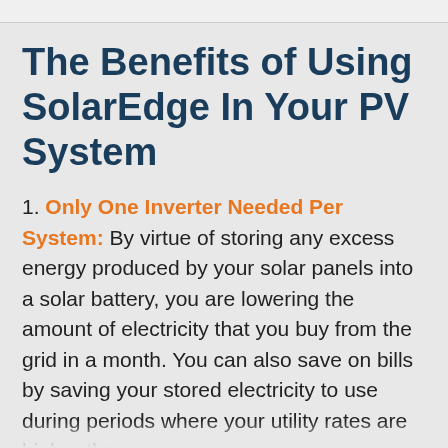The Benefits of Using SolarEdge In Your PV System
1. Only One Inverter Needed Per System: By virtue of storing any excess energy produced by your solar panels into a solar battery, you are lowering the amount of electricity that you buy from the grid in a month. You can also save on bills by saving your stored electricity to use during periods where your utility rates are higher than average.